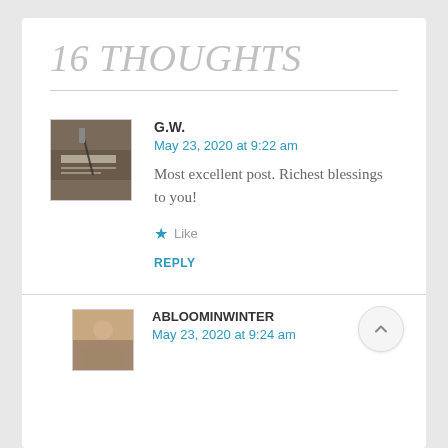16 THOUGHTS
[Figure (photo): Small avatar thumbnail showing a hand writing in a book/journal]
G.W.
May 23, 2020 at 9:22 am
Most excellent post. Richest blessings to you!
Like
REPLY
[Figure (photo): Small avatar thumbnail showing ABLOOMINWINTER user]
ABLOOMINWINTER
May 23, 2020 at 9:24 am